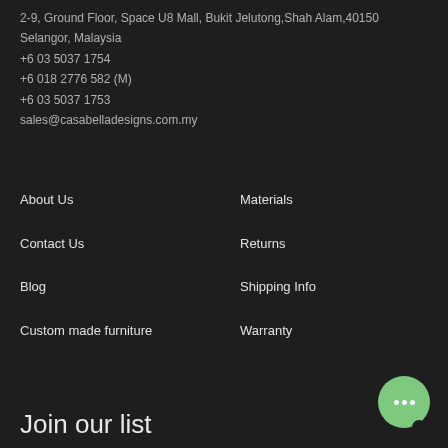2-9, Ground Floor, Space U8 Mall, Bukit Jelutong,Shah Alam,40150 Selangor, Malaysia
+6 03 5037 1754
+6 018 2776 582 (M)
+6 03 5037 1753
sales@casabelladesigns.com.my
About Us
Contact Us
Blog
Custom made furniture
Materials
Returns
Shipping Info
Warranty
Join our list
[Figure (illustration): Green circular chat bubble icon with three dots, positioned bottom-right]